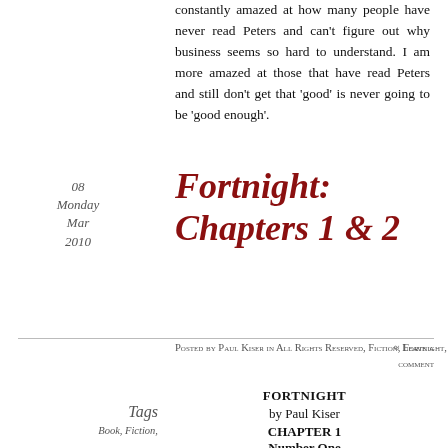constantly amazed at how many people have never read Peters and can't figure out why business seems so hard to understand. I am more amazed at those that have read Peters and still don't get that 'good' is never going to be 'good enough'.
08
Monday
Mar
2010
Fortnight: Chapters 1 & 2
Posted by Paul Kiser in All Rights Reserved, Fiction, Fortnight, Murder Mystery
≈ Leave a comment
FORTNIGHT
by Paul Kiser
Tags
Book, Fiction,
CHAPTER 1
Number One